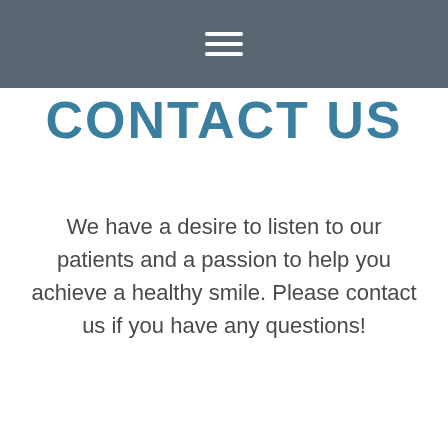≡
CONTACT US
We have a desire to listen to our patients and a passion to help you achieve a healthy smile. Please contact us if you have any questions!